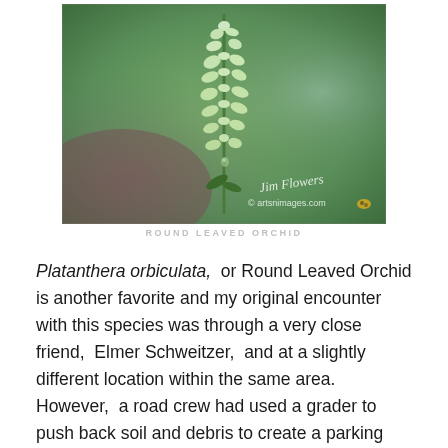[Figure (photo): Close-up photograph of a Round Leaved Orchid (Platanthera orbiculata) plant with small white-green flowers on a tall spike, against a blurred green background. A watermark reads 'Jim Flowers © artsnimages.com' with a small butterfly icon.]
Round Leaved Orchid
Platanthera orbiculata,  or Round Leaved Orchid is another favorite and my original encounter with this species was through a very close friend,  Elmer Schweitzer,  and at a slightly different location within the same area.  However,  a road crew had used a grader to push back soil and debris to create a parking spot for the